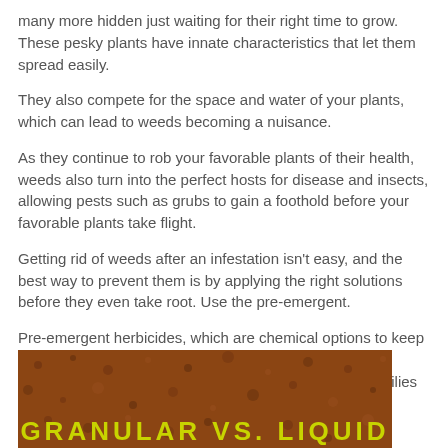many more hidden just waiting for their right time to grow. These pesky plants have innate characteristics that let them spread easily.
They also compete for the space and water of your plants, which can lead to weeds becoming a nuisance.
As they continue to rob your favorable plants of their health, weeds also turn into the perfect hosts for disease and insects, allowing pests such as grubs to gain a foothold before your favorable plants take flight.
Getting rid of weeds after an infestation isn't easy, and the best way to prevent them is by applying the right solutions before they even take root. Use the pre-emergent.
Pre-emergent herbicides, which are chemical options to keep weeds away from ever growing again, are specifically formulated to be effective against specific types and families of weeds.
[Figure (photo): Close-up photo of reddish-brown soil/mulch texture with overlaid text reading 'GRANULAR VS. LIQUID' in bold yellow-green letters]